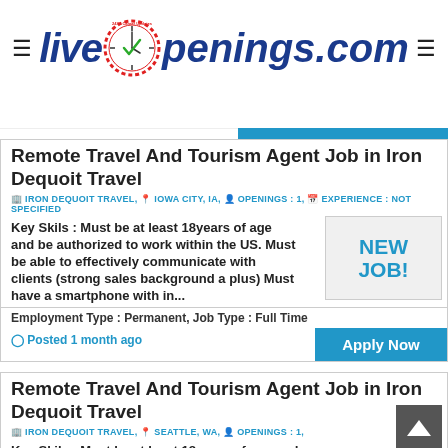[Figure (logo): LiveOpenings.com logo with clock icon and 24/7 Career Updates text around clock face]
Remote Travel And Tourism Agent Job in Iron Dequoit Travel
IRON DEQUOIT TRAVEL, IOWA CITY, IA, OPENINGS : 1, EXPERIENCE : NOT SPECIFIED
Key Skils : Must be at least 18years of age and be authorized to work within the US. Must be able to effectively communicate with clients (strong sales background a plus) Must have a smartphone with in...
Employment Type : Permanent, Job Type : Full Time
Posted 1 month ago
Remote Travel And Tourism Agent Job in Iron Dequoit Travel
IRON DEQUOIT TRAVEL, SEATTLE, WA, OPENINGS : 1, EXPERIENCE : NOT SPECIFIED
Key Skils : Must be at least 18years of age and